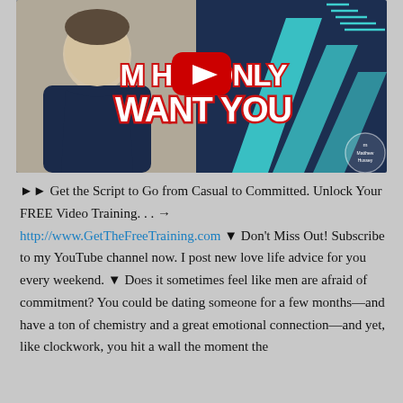[Figure (screenshot): YouTube video thumbnail showing a man smiling on the left, teal geometric shapes on the right, with bold white text reading 'MAKE HIM ONLY WANT YOU' and a red YouTube play button in the center. A logo badge is in the bottom right corner.]
►► Get the Script to Go from Casual to Committed. Unlock Your FREE Video Training. . . → http://www.GetTheFreeTraining.com ▼ Don't Miss Out! Subscribe to my YouTube channel now. I post new love life advice for you every weekend. ▼ Does it sometimes feel like men are afraid of commitment? You could be dating someone for a few months—and have a ton of chemistry and a great emotional connection—and yet, like clockwork, you hit a wall the moment the